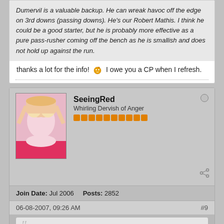Dumervil is a valuable backup. He can wreak havoc off the edge on 3rd downs (passing downs). He's our Robert Mathis. I think he could be a good starter, but he is probably more effective as a pure pass-rusher coming off the bench as he is smallish and does not hold up against the run.
thanks a lot for the info! [emoji] I owe you a CP when I refresh.
SeeingRed
Whirling Dervish of Anger
Join Date: Jul 2006    Posts: 2852
06-08-2007, 09:26 AM
#9
Originally posted by Cheesy